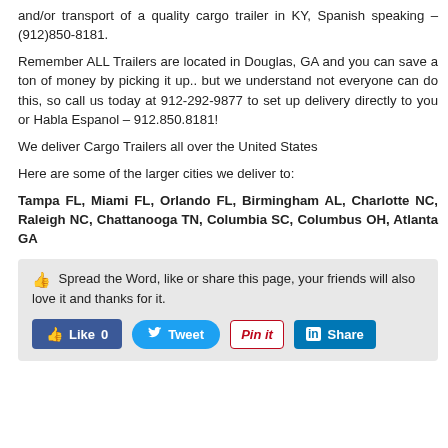and/or transport of a quality cargo trailer in KY, Spanish speaking – (912)850-8181.
Remember ALL Trailers are located in Douglas, GA and you can save a ton of money by picking it up.. but we understand not everyone can do this, so call us today at 912-292-9877 to set up delivery directly to you or Habla Espanol – 912.850.8181!
We deliver Cargo Trailers all over the United States
Here are some of the larger cities we deliver to:
Tampa FL, Miami FL, Orlando FL, Birmingham AL, Charlotte NC, Raleigh NC, Chattanooga TN, Columbia SC, Columbus OH, Atlanta GA
Spread the Word, like or share this page, your friends will also love it and thanks for it.